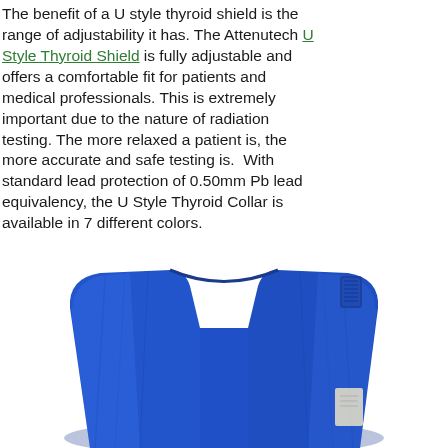The benefit of a U style thyroid shield is the range of adjustability it has. The Attenutech U Style Thyroid Shield is fully adjustable and offers a comfortable fit for patients and medical professionals. This is extremely important due to the nature of radiation testing. The more relaxed a patient is, the more accurate and safe testing is. With standard lead protection of 0.50mm Pb lead equivalency, the U Style Thyroid Collar is available in 7 different colors.
[Figure (photo): Photo of a blue U Style Thyroid Shield/Collar product, showing the royal blue fabric collar from a slightly elevated angle, with the U-shaped opening visible at the top]